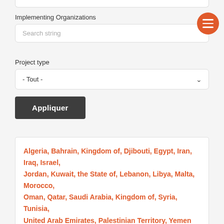Implementing Organizations
Search string
Project type
- Tout -
Appliquer
Algeria, Bahrain, Kingdom of, Djibouti, Egypt, Iran, Iraq, Israel, Jordan, Kuwait, the State of, Lebanon, Libya, Malta, Morocco, Oman, Qatar, Saudi Arabia, Kingdom of, Syria, Tunisia, United Arab Emirates, Palestinian Territory, Yemen
WGS MENA Regional Risk Assessment and Selectivity